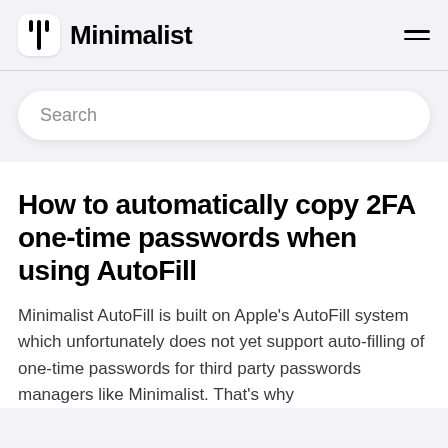Minimalist
Search
How to automatically copy 2FA one-time passwords when using AutoFill
Minimalist AutoFill is built on Apple's AutoFill system which unfortunately does not yet support auto-filling of one-time passwords for third party passwords managers like Minimalist. That's why